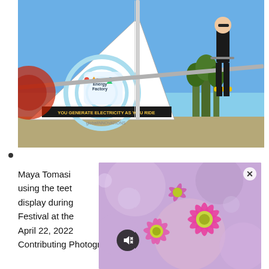[Figure (photo): A person riding an Energy Factory mechanical ride at an outdoor festival. The ride has a large triangular sign reading 'The Energy Factory' with text 'YOU GENERATE ELECTRICITY AS YOU RIDE' and 'globalINNOVATIONS'. The rider is a young woman in black clothing against a bright blue sky.]
[Figure (photo): An overlay popup showing a close-up photo of bright pink/purple daisy-like flowers with yellow centers, in soft focus bokeh background. Has a close (X) button and a mute button overlay.]
Maya Tomasi [text partially obscured] using the teet[er-totter] display during [Coachella] Festival at the[ Empire Polo Club,] April 22, 2022[. (Photo credit), Contributing Photographer)